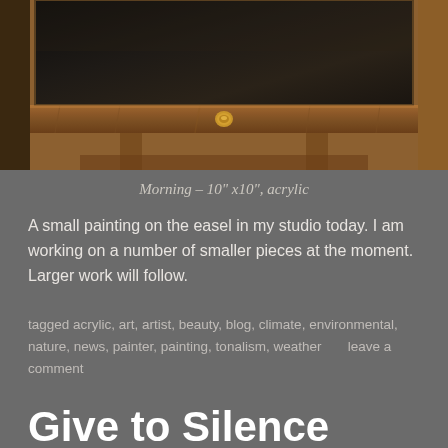[Figure (photo): A painting on an easel in a studio — visible wooden easel frame with a dark painted canvas on top, warm brown wood tones]
Morning – 10" x10", acrylic
A small painting on the easel in my studio today. I am working on a number of smaller pieces at the moment. Larger work will follow.
tagged acrylic, art, artist, beauty, blog, climate, environmental, nature, news, painter, painting, tonalism, weather      leave a comment
Give to Silence